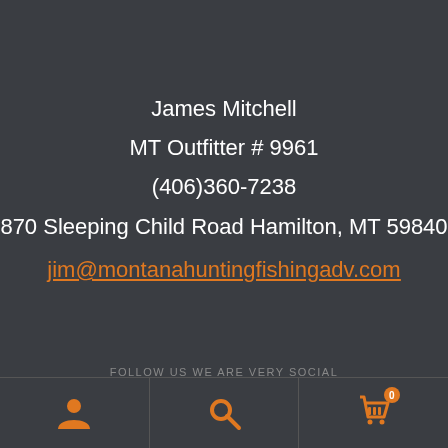James Mitchell
MT Outfitter # 9961
(406)360-7238
870 Sleeping Child Road Hamilton, MT 59840
jim@montanahuntingfishingadv.com
FOLLOW US WE ARE VERY SOCIAL
[Figure (illustration): Footer icon bar with three cells: a person/user icon (orange), a search/magnify icon (orange), and a shopping cart icon (orange) with a badge showing '0']